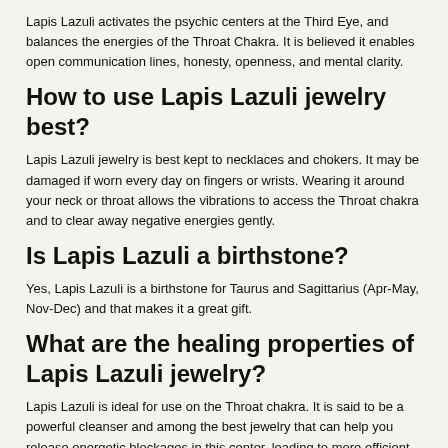Lapis Lazuli activates the psychic centers at the Third Eye, and balances the energies of the Throat Chakra. It is believed it enables open communication lines, honesty, openness, and mental clarity.
How to use Lapis Lazuli jewelry best?
Lapis Lazuli jewelry is best kept to necklaces and chokers. It may be damaged if worn every day on fingers or wrists. Wearing it around your neck or throat allows the vibrations to access the Throat chakra and to clear away negative energies gently.
Is Lapis Lazuli a birthstone?
Yes, Lapis Lazuli is a birthstone for Taurus and Sagittarius (Apr-May, Nov-Dec) and that makes it a great gift.
What are the healing properties of Lapis Lazuli jewelry?
Lapis Lazuli is ideal for use on the Throat chakra. It is said to be a powerful cleanser and among the best jewelry that can help you release energetic blockages in this center, leading to more efficient, clearer communication.